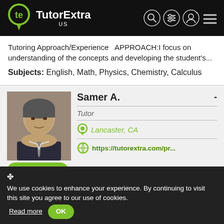TutorExtra US
Tutoring Approach/Experience   APPROACH:I focus on understanding of the concepts and developing the student's...
Subjects: English, Math, Physics, Chemistry, Calculus
Samer A.
Tutor
Lancaster, CA
https://tutorextra.com/pr...
Send Message
Having graduated from the Bauman Moscow State Technical University (MSTU), Moscow, Russia with a Master of Science i
✤ We use cookies to enhance your experience. By continuing to visit this site you agree to our use of cookies.  Read more   OK